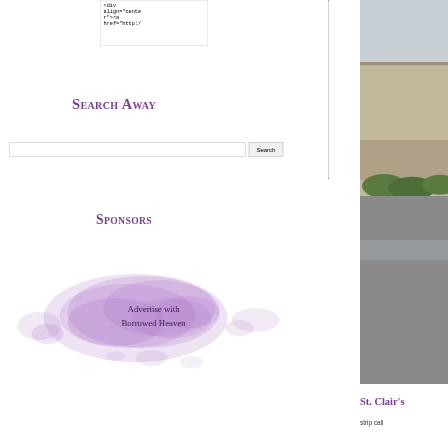[Figure (screenshot): Code snippet showing HTML div with align=center and anchor href attribute, displayed in a bordered box]
Search Away
[Figure (screenshot): Search input box with Search button]
Sponsors
[Figure (illustration): Watercolor purple blob with text 'Advertise with Borrowed Heaven']
[Figure (photo): Outdoor photo of a building with parking lot and green shrubs]
St. Clair's
strip call